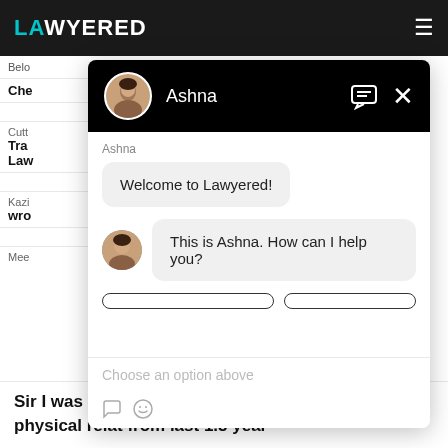LAWYERED
[Figure (screenshot): Chat widget overlay showing a conversation with Ashna from Lawyered. Header shows avatar, name 'Ashna', chat and close icons on black background. Chat shows 'Welcome to Lawyered!' bubble, then an avatar with 'This is Ashna. How can I help you?' bubble. Below are two partially visible option buttons, 'Choose an option above' placeholder text, and attachment/emoji icons.]
Sir I was having a girl friend and we were in physical relat from last 1.5 year